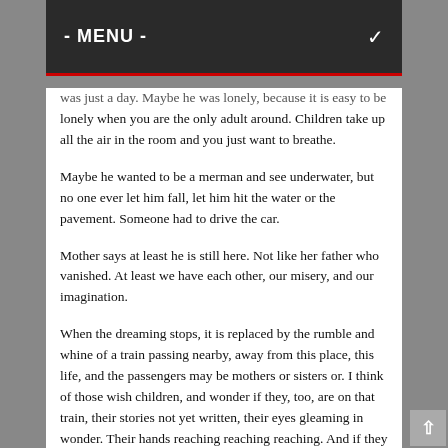- MENU -
was just a day. Maybe he was lonely, because it is easy to be lonely when you are the only adult around. Children take up all the air in the room and you just want to breathe.
Maybe he wanted to be a merman and see underwater, but no one ever let him fall, let him hit the water or the pavement. Someone had to drive the car.
Mother says at least he is still here. Not like her father who vanished. At least we have each other, our misery, and our imagination.
When the dreaming stops, it is replaced by the rumble and whine of a train passing nearby, away from this place, this life, and the passengers may be mothers or sisters or. I think of those wish children, and wonder if they, too, are on that train, their stories not yet written, their eyes gleaming in wonder. Their hands reaching reaching reaching. And if they will be gone when I wake.